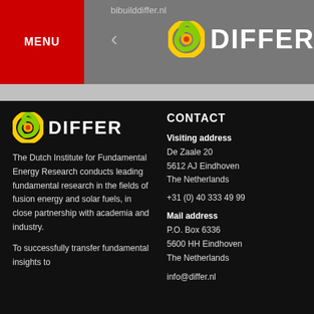MENU | bibuilddiffer.nl | DIFFER
[Figure (logo): DIFFER institute logo in header - multicolor spiral swirl in green/yellow/red/orange colors with DIFFER text in white on grey background]
[Figure (logo): DIFFER institute logo - multicolor spiral swirl in green/yellow/red/orange colors with DIFFER text in white on black background]
The Dutch Institute for Fundamental Energy Research conducts leading fundamental research in the fields of fusion energy and solar fuels, in close partnership with academia and industry.

To successfully transfer fundamental insights to
CONTACT
Visiting address
De Zaale 20
5612 AJ Eindhoven
The Netherlands

+31 (0) 40 333 49 99

Mail address
P.O. Box 6336
5600 HH Eindhoven
The Netherlands

info@differ.nl